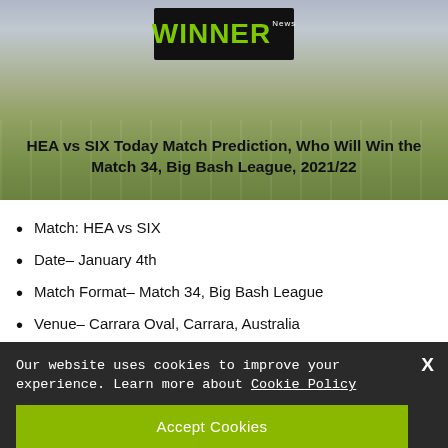[Figure (photo): Stadium background image with green cricket/sports field and stands visible, with 'WINNER' logo in black box with green text overlaid at top center, and article title overlaid at bottom of image]
HEA vs SIX Today Match Prediction, Who Will Win the Match 34, Big Bash League, 2021/22
Match: HEA vs SIX
Date- January 4th
Match Format- Match 34, Big Bash League
Venue- Carrara Oval, Carrara, Australia
Time- 1:45 PM IST
Our website uses cookies to improve your experience. Learn more about Cookie Policy
Accept Cookies